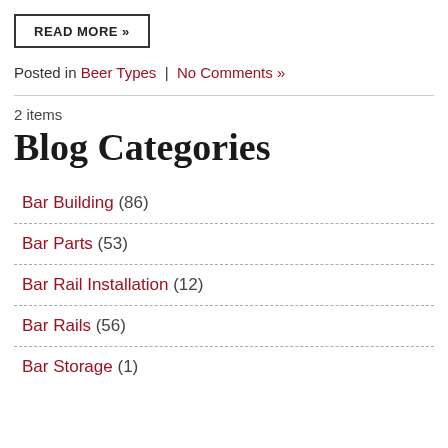[Figure (other): READ MORE button with dark border]
Posted in Beer Types | No Comments »
2 items
Blog Categories
Bar Building (86)
Bar Parts (53)
Bar Rail Installation (12)
Bar Rails (56)
Bar Storage (1)